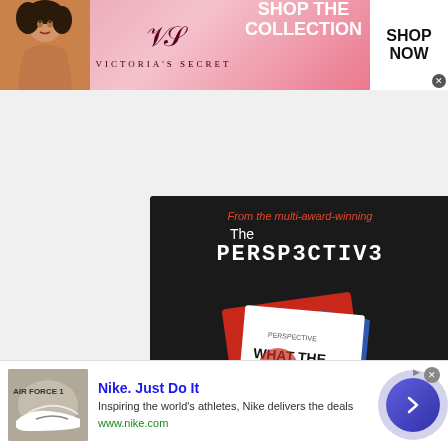[Figure (other): Victoria's Secret advertisement banner: pink background with model on left, VS logo and VICTORIA'S SECRET text in center, SHOP THE COLLECTION text, and SHOP NOW button on right]
[Figure (other): The Perspective book advertisement on dark background: tagline 'From the multi-award-winning', title 'The PERSPECTIVE', book cover image showing 'WHAT THE HELL...' text, subtitle 'The 100 debates that govern your life.', Available on Amazon button]
This site uses cookies and other similar technologies to provide site functionality, analyze traffic and usage, and
[Figure (other): Nike advertisement: Air Force 1 shoes image on left, 'Nike. Just Do It' title in blue, description 'Inspiring the world's athletes, Nike delivers the deals', URL www.nike.com, blue circular arrow button on right]